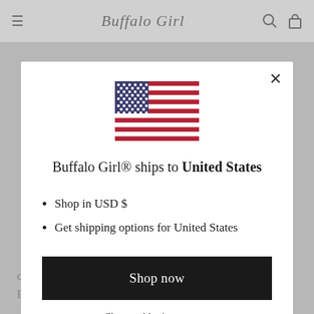Buffalo Girl (logo/nav bar)
[Figure (screenshot): Modal dialog on a website for Buffalo Girl clothing brand. Shows a US flag icon, text 'Buffalo Girl® ships to United States', bullet points listing 'Shop in USD $' and 'Get shipping options for United States', a black 'Shop now' button, and a 'Change shipping country' link.]
Buffalo Girl® ships to United States
Shop in USD $
Get shipping options for United States
Shop now
Change shipping country
carefully sourced materials by Terry and her team in our Byron Bay studio.